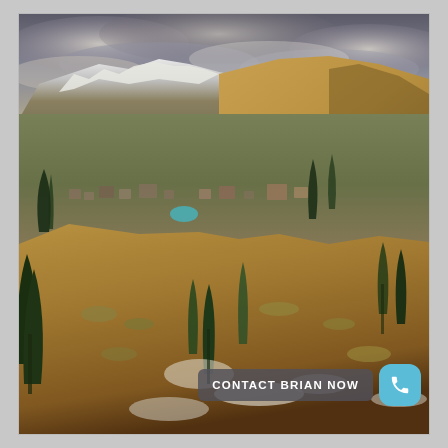[Figure (photo): Aerial/elevated landscape photograph of a mountain valley town, taken from a rocky hillside. Foreground shows rocky terrain with sagebrush, scrub, and light snow patches. Mid-ground shows a small town/community nestled in the valley with trees and buildings including what appears to be a turquoise pool. Background shows a large brown mountain to the right and snow-capped mountain range to the left under a dramatic cloudy sky.]
CONTACT BRIAN NOW